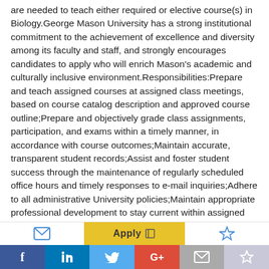are needed to teach either required or elective course(s) in Biology.George Mason University has a strong institutional commitment to the achievement of excellence and diversity among its faculty and staff, and strongly encourages candidates to apply who will enrich Mason's academic and culturally inclusive environment.Responsibilities:Prepare and teach assigned courses at assigned class meetings, based on course catalog description and approved course outline;Prepare and objectively grade class assignments, participation, and exams within a timely manner, in accordance with course outcomes;Maintain accurate, transparent student records;Assist and foster student success through the maintenance of regularly scheduled office hours and timely responses to e-mail inquiries;Adhere to all administrative University policies;Maintain appropriate professional development to stay current within assigned courses;Maintain appropriate standards of professional conduct and ethics; andOther duties as assigned by contract and/or by the Course Coordinator;Required Qualifications: A
[Figure (other): Bottom action bar with email icon on left, yellow Apply button in center, and star/bookmark icon on right. Below: social sharing bar with Facebook, LinkedIn, Twitter, Google+, email, and save icons.]